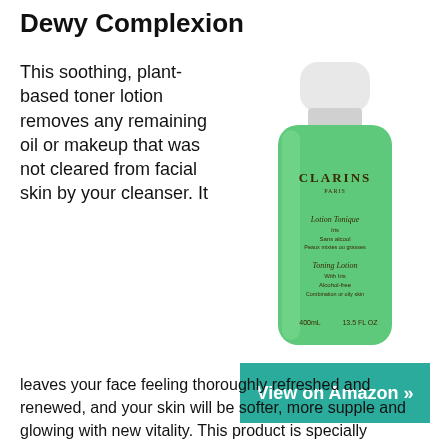Dewy Complexion
This soothing, plant-based toner lotion removes any remaining oil or makeup that was not cleared from facial skin by your cleanser. It leaves your face feeling thoroughly refreshed and renewed, and your skin will be softer, more supple and glowing with new vitality. This product is specially
[Figure (photo): Clarins Toning Lotion bottle with green label, white cap. Label reads: Lotion Tonique / Toning Lotion With Iris, Alcohol-free, Combination or oily skin, 400ml / 13.5 FL OZ]
[Figure (infographic): Teal/green button reading 'View on Amazon >>']